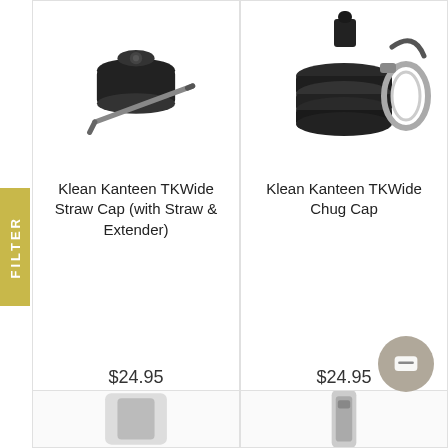[Figure (photo): Klean Kanteen TKWide Straw Cap with straw and extender - black]
[Figure (photo): Klean Kanteen TKWide Chug Cap - black with metal loop]
Klean Kanteen TKWide Straw Cap (with Straw & Extender)
Klean Kanteen TKWide Chug Cap
$24.95
$24.95
ADD TO CART
ADD TO CART
[Figure (photo): Partial view of a product (bottom left)]
[Figure (photo): Partial view of a product (bottom right)]